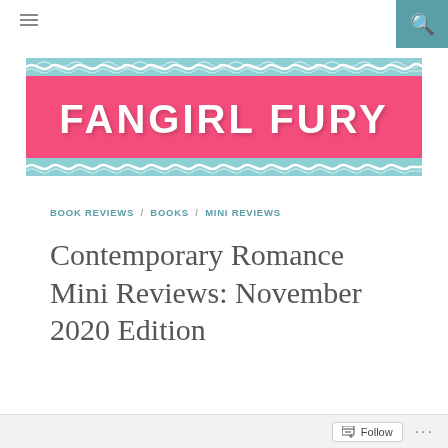≡  🔍
[Figure (logo): Fangirl Fury blog banner with hot pink background, teal and white decorative swirly border pattern, and white bold text reading FANGIRL FURY]
BOOK REVIEWS / BOOKS / MINI REVIEWS
Contemporary Romance Mini Reviews: November 2020 Edition
Follow  ...